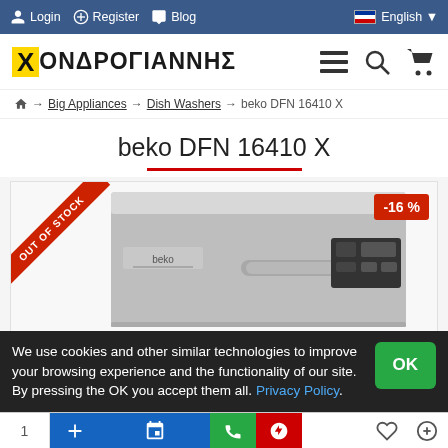Login | Register | Blog | English
[Figure (logo): Χονδρογιάννης logo with yellow X and Greek text, plus hamburger menu, search, and cart icons]
Home → Big Appliances → Dish Washers → beko DFN 16410 X
beko DFN 16410 X
[Figure (photo): Beko DFN 16410 X stainless steel freestanding dishwasher with OUT OF STOCK ribbon and -16% discount badge]
We use cookies and other similar technologies to improve your browsing experience and the functionality of our site. By pressing the OK you accept them all. Privacy Policy.